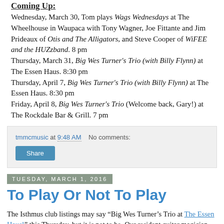Coming Up:
Wednesday, March 30, Tom plays Wags Wednesdays at The Wheelhouse in Waupaca with Tony Wagner, Joe Fittante and Jim Prideaux of Otis and The Alligators, and Steve Cooper of WiFEE and the HUZzband. 8 pm
Thursday, March 31, Big Wes Turner's Trio (with Billy Flynn) at The Essen Haus. 8:30 pm
Thursday, April 7, Big Wes Turner's Trio (with Billy Flynn) at The Essen Haus. 8:30 pm
Friday, April 8, Big Wes Turner's Trio (Welcome back, Gary!) at The Rockdale Bar & Grill. 7 pm
tmmcmusic at 9:48 AM   No comments:
Tuesday, March 1, 2016
To Play Or Not To Play
The Isthmus club listings may say “Big Wes Turner’s Trio at The Essen Haus!” this Thursday, but it is not to be. Our resident guitar magician Gary Hendrickson blew out a knee. Ouch! Last minute moves to find a substitute came up short. So come Thursday,